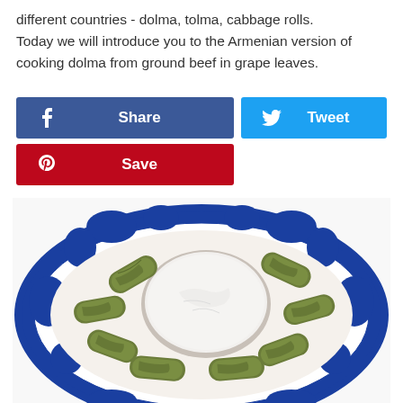different countries - dolma, tolma, cabbage rolls. Today we will introduce you to the Armenian version of cooking dolma from ground beef in grape leaves.
[Figure (other): Social share buttons: Facebook Share (blue), Twitter Tweet (light blue), Pinterest Save (red)]
[Figure (photo): A blue and white decorative plate with grape leaf dolma rolls arranged around a small bowl of white yogurt/sour cream dipping sauce in the center.]